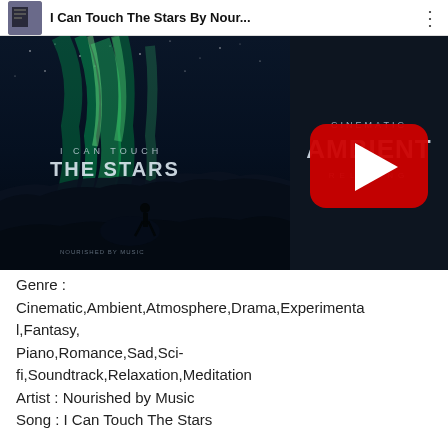[Figure (screenshot): YouTube video thumbnail for 'I Can Touch The Stars By Nour...' showing a cinematic ambient music video with aurora borealis night sky, a silhouetted person standing on rocks, a YouTube play button overlay, and text reading 'CINEMATIC AMBIENT RELAXING' on the right side]
Genre :
Cinematic,Ambient,Atmosphere,Drama,Experimental,Fantasy,
Piano,Romance,Sad,Sci-fi,Soundtrack,Relaxation,Meditation
Artist : Nourished by Music
Song : I Can Touch The Stars